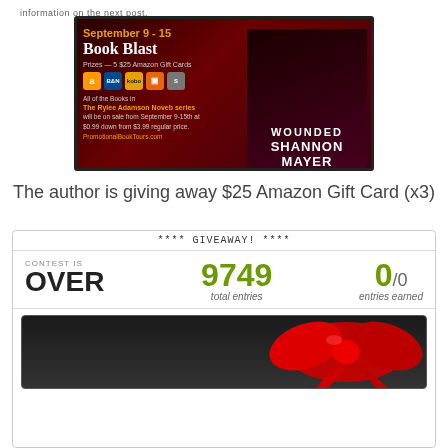information on the next post.
[Figure (illustration): Book Blast promotional banner for September 9-15 featuring Wounded by Shannon Mayer. Shows prizes of 5 $25 Amazon Gift Cards and all Rylee Adamson Novels series on sale September 9-15th at $0.99 down from $3.99 regular price. PromotionalBookTours.com. Features book cover with figure in dark clothing.]
The author is giving away $25 Amazon Gift Card (x3)
[Figure (screenshot): Giveaway widget showing **** GIVEAWAY! ****, CONTEST IS OVER, 9749 total entries, 0/0 entries earned, and a prize image area with a red bow on dark background.]